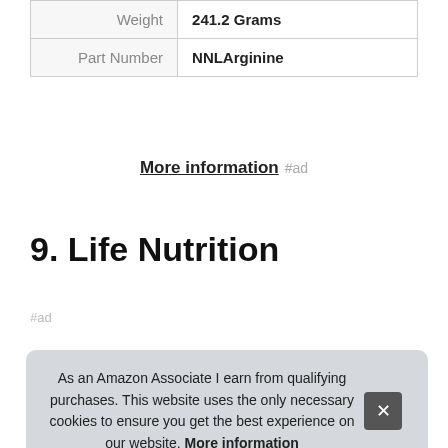| Weight | 241.2 Grams |
| Part Number | NNLArginine |
More information #ad
9. Life Nutrition
#ad
As an Amazon Associate I earn from qualifying purchases. This website uses the only necessary cookies to ensure you get the best experience on our website. More information